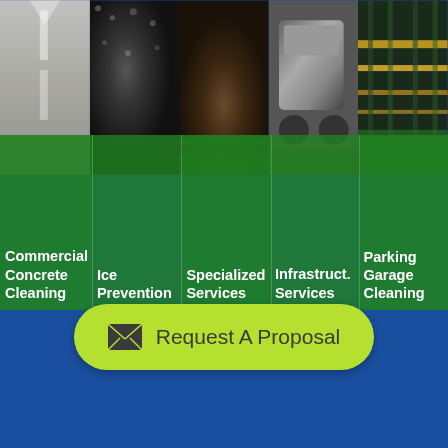[Figure (infographic): Five-column photo grid showing commercial services: road/pavement, dark gravel/ice, dark surface material, truck/vehicle, and industrial/parking facility. Each column has a green overlay with white bold labels: Commercial Concrete Cleaning | Ice Prevention | Specialized Services | Infrastructure Services | Parking Garage Cleaning]
Request A Proposal